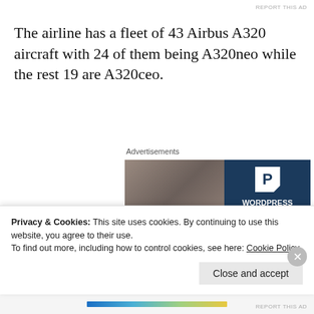REPORT THIS AD
The airline has a fleet of 43 Airbus A320 aircraft with 24 of them being A320neo while the rest 19 are A320ceo.
Advertisements
[Figure (photo): Advertisement banner for WordPress hosting showing a woman holding an OPEN sign on the left side and dark blue background with WordPress hosting promotional text on the right side]
Privacy & Cookies: This site uses cookies. By continuing to use this website, you agree to their use.
To find out more, including how to control cookies, see here: Cookie Policy
Close and accept
REPORT THIS AD